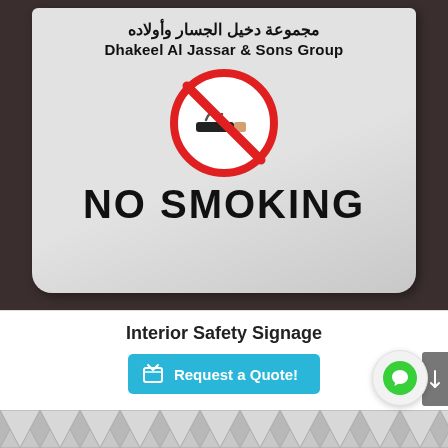[Figure (photo): A no-smoking desk sign with Arabic text 'مجموعة دخيل الجسار وأولاده' and English text 'Dhakeel Al Jassar & Sons Group' at the top, a red no-smoking symbol in the center, and large bold 'NO SMOKING' text at the bottom. The sign is silver/grey colored and sits on a dark surface.]
Interior Safety Signage
Request a Quote!
[Figure (photo): Partial view of another sign or product visible at the very bottom of the page, showing a geometric/triangular pattern in grey and white.]